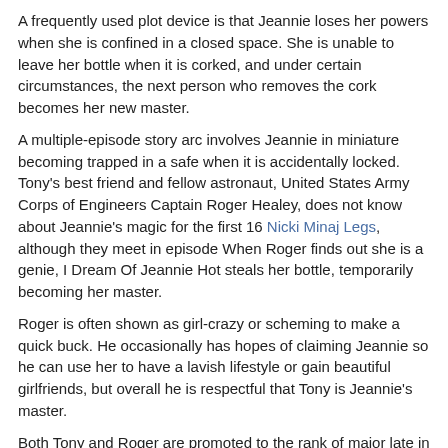A frequently used plot device is that Jeannie loses her powers when she is confined in a closed space. She is unable to leave her bottle when it is corked, and under certain circumstances, the next person who removes the cork becomes her new master.
A multiple-episode story arc involves Jeannie in miniature becoming trapped in a safe when it is accidentally locked. Tony's best friend and fellow astronaut, United States Army Corps of Engineers Captain Roger Healey, does not know about Jeannie's magic for the first 16 Nicki Minaj Legs, although they meet in episode When Roger finds out she is a genie, I Dream Of Jeannie Hot steals her bottle, temporarily becoming her master.
Roger is often shown as girl-crazy or scheming to make a quick buck. He occasionally has hopes of claiming Jeannie so he can use her to have a lavish lifestyle or gain beautiful girlfriends, but overall he is respectful that Tony is Jeannie’s master.
Both Tony and Roger are promoted to the rank of major late in the first season. In later seasons, Roger’s role is retconned to portray him knowing about Jeannie from the beginning i. Jeannie’s evil fraternal twin sister, mentioned in a second-season episode also named Jeannie — since, as Barbara Eden’s character explains it, all female genies are named Jeannie — and also portrayed by Barbara Eden, in a brunette wigproves to have a mean streak starting in the third season as in her initial appearance in "Jeannie or the Tiger?
Her final attempt in the series comes shortly after Tony and Jeannie are married, with a ploy involving a man played by Barbara Eden’s real-life husband at the time, Michael Ansara in a kind Free Wet Sex in-joke, while Jeannie’s sister pretends to be attracted to him, she privately scoffs at him. The evil sister wears a green costume, with a skirt rather than pantaloons. Early in the fifth season, Jeannie is called upon by her uncle Sully Jackie Coogan to become queen of their family’s native country, Basenji.